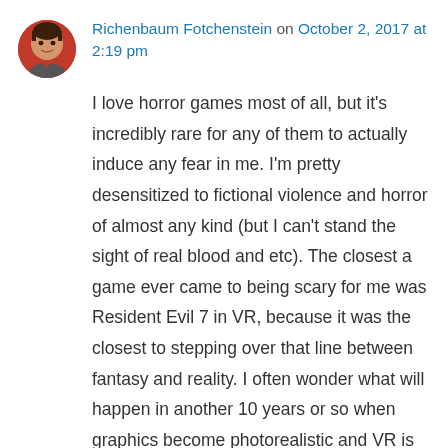Richenbaum Fotchenstein on October 2, 2017 at 2:19 pm
I love horror games most of all, but it's incredibly rare for any of them to actually induce any fear in me. I'm pretty desensitized to fictional violence and horror of almost any kind (but I can't stand the sight of real blood and etc). The closest a game ever came to being scary for me was Resident Evil 7 in VR, because it was the closest to stepping over that line between fantasy and reality. I often wonder what will happen in another 10 years or so when graphics become photorealistic and VR is even more advanced. Will I still be able to handle it? Will anyone? Guess we'll see!